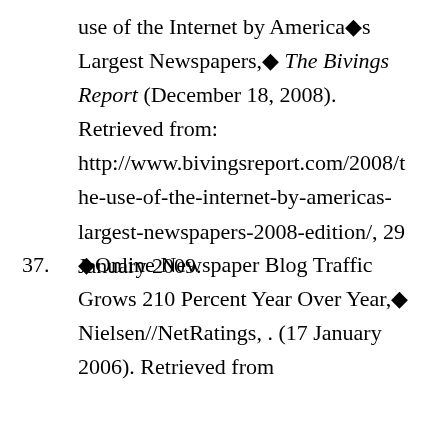use of the Internet by America's Largest Newspapers,◆ The Bivings Report (December 18, 2008). Retrieved from: http://www.bivingsreport.com/2008/the-use-of-the-internet-by-americas-largest-newspapers-2008-edition/, 29 January 2009.
37. ◆Online Newspaper Blog Traffic Grows 210 Percent Year Over Year,◆ Nielsen//NetRatings, . (17 January 2006). Retrieved from...